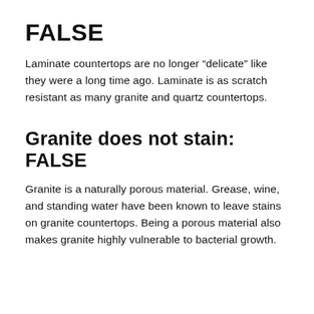FALSE
Laminate countertops are no longer “delicate” like they were a long time ago. Laminate is as scratch resistant as many granite and quartz countertops.
Granite does not stain: FALSE
Granite is a naturally porous material. Grease, wine, and standing water have been known to leave stains on granite countertops. Being a porous material also makes granite highly vulnerable to bacterial growth.